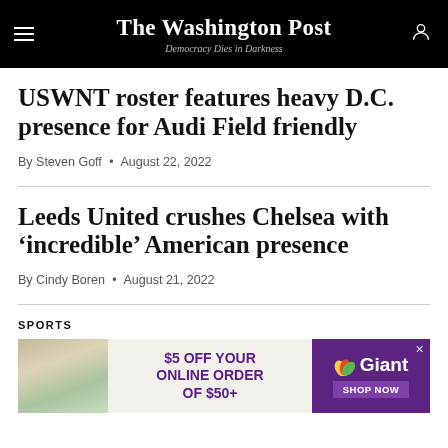The Washington Post — Democracy Dies in Darkness
USWNT roster features heavy D.C. presence for Audi Field friendly
By Steven Goff • August 22, 2022
Leeds United crushes Chelsea with 'incredible' American presence
By Cindy Boren • August 21, 2022
SPORTS
[Figure (photo): Advertisement: $5 OFF YOUR ONLINE ORDER OF $50+ — Giant Food, SHOP NOW]